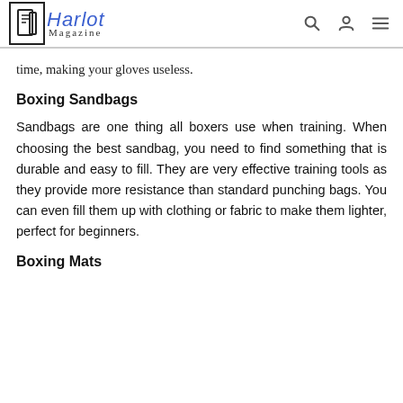Harlot Magazine
time, making your gloves useless.
Boxing Sandbags
Sandbags are one thing all boxers use when training. When choosing the best sandbag, you need to find something that is durable and easy to fill. They are very effective training tools as they provide more resistance than standard punching bags. You can even fill them up with clothing or fabric to make them lighter, perfect for beginners.
Boxing Mats